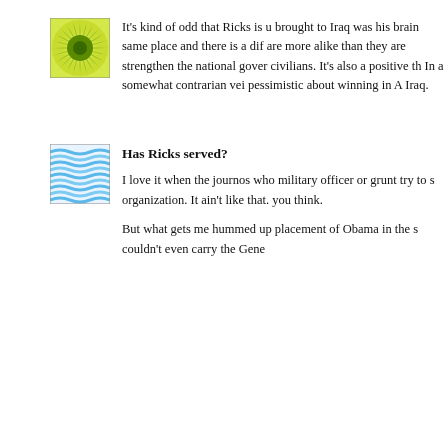[Figure (illustration): Square avatar icon with yellow-green sunburst/starburst pattern radiating from a central dark green circle on a light yellow-green background]
It's kind of odd that Ricks is u brought to Iraq was his brain same place and there is a dif are more alike than they are strengthen the national gover civilians. It's also a positive th In a somewhat contrarian vei pessimistic about winning in A Iraq.
[Figure (illustration): Square avatar icon with wavy horizontal blue and white lines pattern suggesting water or waves]
Has Ricks served?
I love it when the journos who military officer or grunt try to s organization. It ain't like that. you think.
But what gets me hummed up placement of Obama in the s couldn't even carry the Gene